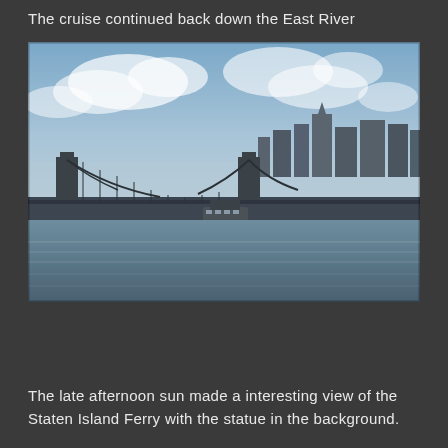The cruise continued back down the East River
[Figure (photo): Photograph of the Manhattan Bridge over the East River with a ferry boat in the foreground center, another vessel on the left, and the Lower Manhattan skyline visible in the background under a partly cloudy blue sky.]
The late afternoon sun made a interesting view of the Staten Island Ferry with the statue in the background.